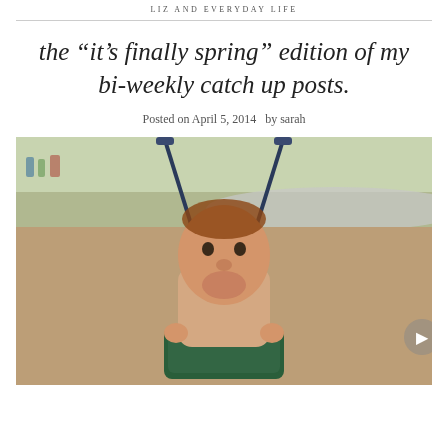LIZ AND EVERYDAY LIFE
the “it’s finally spring” edition of my bi-weekly catch up posts.
Posted on April 5, 2014  by sarah
[Figure (photo): A baby sitting in a green bucket swing at a playground, with playground equipment and other children visible in the background.]